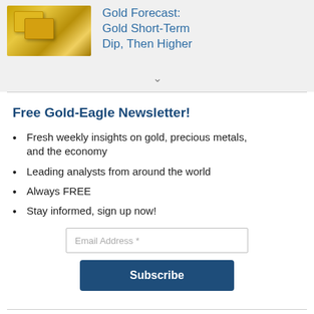[Figure (illustration): Gold bars image with article thumbnail for Gold Forecast article]
Gold Forecast: Gold Short-Term Dip, Then Higher
Free Gold-Eagle Newsletter!
Fresh weekly insights on gold, precious metals, and the economy
Leading analysts from around the world
Always FREE
Stay informed, sign up now!